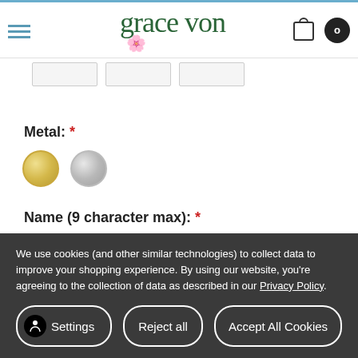[Figure (logo): Grace Von brand logo with green serif text and blue flower decoration]
[Figure (screenshot): Three product thumbnail image placeholders in a horizontal strip]
Metal: *
[Figure (other): Two metal color swatches: gold (yellow) and silver (gray)]
Name (9 character max): *
[Figure (screenshot): Empty text input field for name entry]
We use cookies (and other similar technologies) to collect data to improve your shopping experience. By using our website, you're agreeing to the collection of data as described in our Privacy Policy.
Settings
Reject all
Accept All Cookies